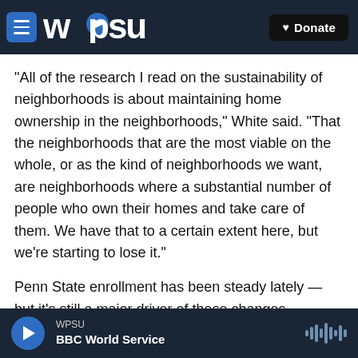WPSU | Donate
“All of the research I read on the sustainability of neighborhoods is about maintaining home ownership in the neighborhoods,” White said. “That the neighborhoods that are the most viable on the whole, or as the kind of neighborhoods we want, are neighborhoods where a substantial number of people who own their homes and take care of them. We have that to a certain extent here, but we’re starting to lose it.”
Penn State enrollment has been steady lately — but it’s still a major driver of these changes.
WPSU | BBC World Service